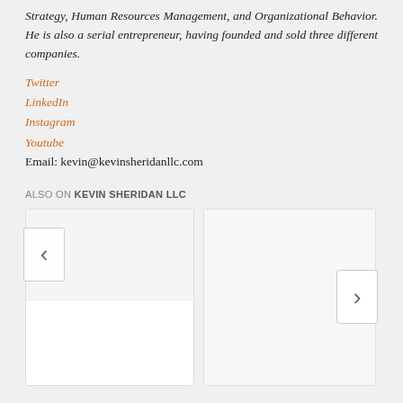Strategy, Human Resources Management, and Organizational Behavior. He is also a serial entrepreneur, having founded and sold three different companies.
Twitter
LinkedIn
Instagram
Youtube
Email: kevin@kevinsheridanllc.com
ALSO ON KEVIN SHERIDAN LLC
[Figure (other): Two content cards with navigation arrows (left chevron on first card, right chevron on second card), part of a carousel for 'Also On Kevin Sheridan LLC' section.]